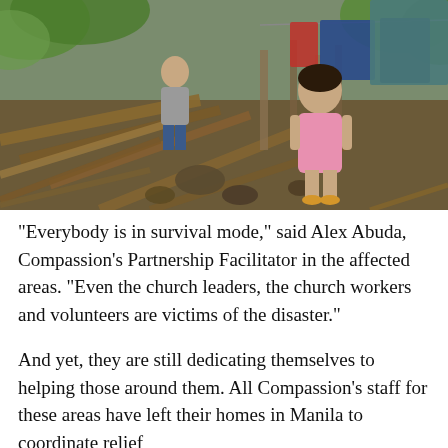[Figure (photo): Two children standing amid debris and destruction — broken wooden planks, rubble, and dirt — likely aftermath of a typhoon or natural disaster. Laundry hanging on a line in the background. One child wearing a gray shirt and blue shorts, another in a pink dress standing in the foreground. Green vegetation visible in the background.]
“Everybody is in survival mode,” said Alex Abuda, Compassion’s Partnership Facilitator in the affected areas. “Even the church leaders, the church workers and volunteers are victims of the disaster.”
And yet, they are still dedicating themselves to helping those around them. All Compassion’s staff for these areas have left their homes in Manila to coordinate relief